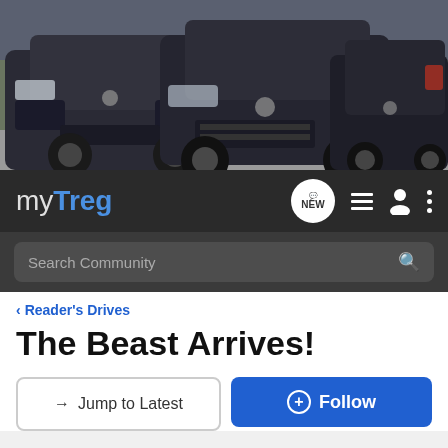[Figure (photo): Banner photo showing three dark-colored Volkswagen Touareg SUVs parked on a road with trees in background]
myTreg
Search Community
Reader's Drives
The Beast Arrives!
→ Jump to Latest
+ Follow
1 - 12 of 12 Posts
mrnewtouareg · Member
Joined Jun 27, 2006 · 33 Posts